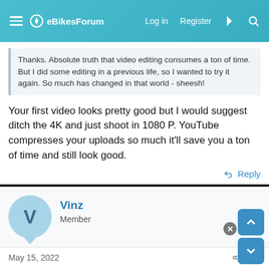eBikesForum  Log in  Register
Thanks. Absolute truth that video editing consumes a ton of time. But I did some editing in a previous life, so I wanted to try it again. So much has changed in that world - sheesh!
Your first video looks pretty good but I would suggest ditch the 4K and just shoot in 1080 P. YouTube compresses your uploads so much it'll save you a ton of time and still look good.
Reply
Vinz
Member
May 15, 2022  #6
I use the old rule-of-thumb - shoot in as high a resolution as you
Sign up instantly using, Facebook, Google, Twitter or Email and enjoy zero ads! Your privacy is guaranteed, your data is safe and will never be shared.